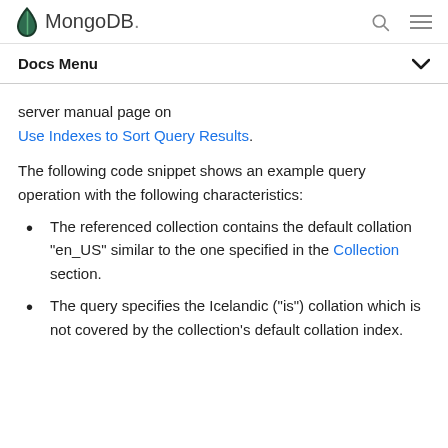MongoDB
Docs Menu
server manual page on Use Indexes to Sort Query Results.
The following code snippet shows an example query operation with the following characteristics:
The referenced collection contains the default collation "en_US" similar to the one specified in the Collection section.
The query specifies the Icelandic ("is") collation which is not covered by the collection's default collation index.